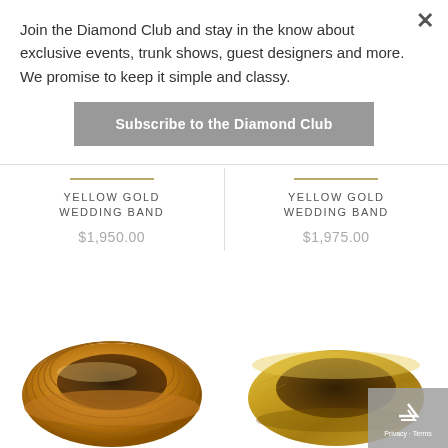Join the Diamond Club and stay in the know about exclusive events, trunk shows, guest designers and more. We promise to keep it simple and classy.
Subscribe to the Diamond Club
YELLOW GOLD WEDDING BAND
$1,950.00
YELLOW GOLD WEDDING BAND
$1,975.00
[Figure (photo): Yellow gold wedding band with multiple grooved ridges, photographed at an angle showing the interior of the ring]
[Figure (photo): Yellow gold smooth wedding band with brushed matte finish, photographed at an angle]